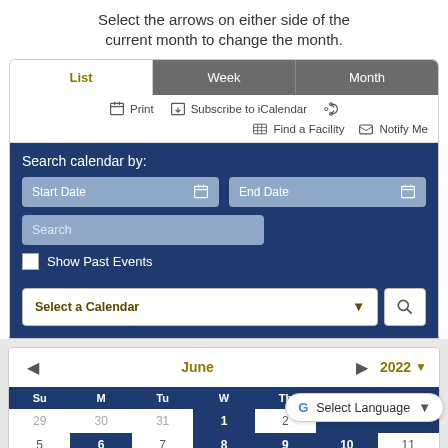Select the arrows on either side of the current month to change the month.
[Figure (screenshot): Calendar interface with List/Week/Month tabs, print/subscribe toolbar, search calendar form with Start Date, End Date, Search fields, Show Past Events checkbox, Select a Calendar dropdown, and June 2022 monthly calendar grid showing days Su through Sa with dates 29-31, 1, 2 and 5-11 visible.]
Select Language